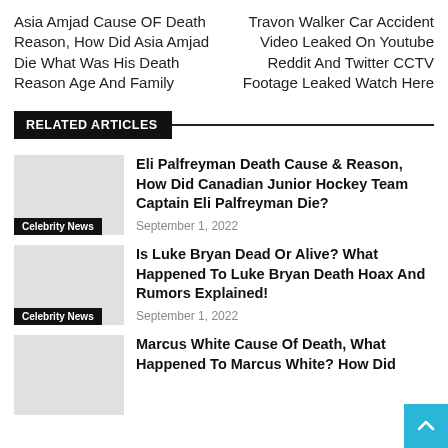Asia Amjad Cause OF Death Reason, How Did Asia Amjad Die What Was His Death Reason Age And Family
Travon Walker Car Accident Video Leaked On Youtube Reddit And Twitter CCTV Footage Leaked Watch Here
RELATED ARTICLES
Celebrity News
Eli Palfreyman Death Cause & Reason, How Did Canadian Junior Hockey Team Captain Eli Palfreyman Die?
September 1, 2022
Celebrity News
Is Luke Bryan Dead Or Alive? What Happened To Luke Bryan Death Hoax And Rumors Explained!
September 1, 2022
Marcus White Cause Of Death, What Happened To Marcus White? How Did